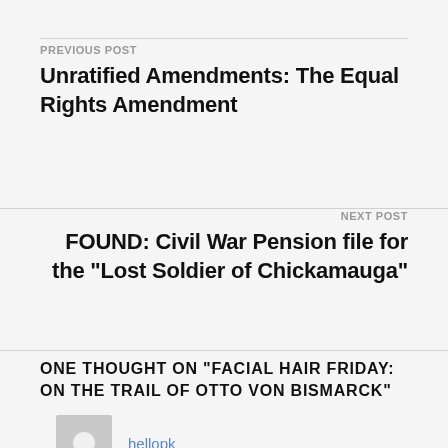PREVIOUS POST
Unratified Amendments: The Equal Rights Amendment
NEXT POST
FOUND: Civil War Pension file for the “Lost Soldier of Chickamauga”
ONE THOUGHT ON “FACIAL HAIR FRIDAY: ON THE TRAIL OF OTTO VON BISMARCK”
hellopk